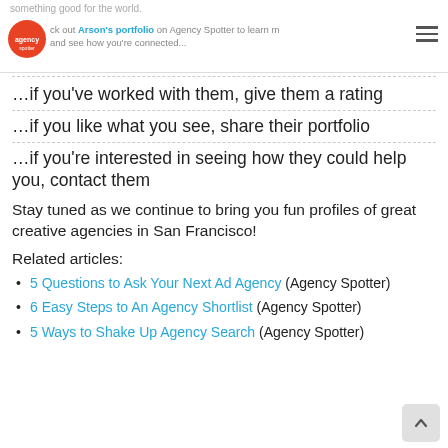something good for the world. Check out Arson's portfolio on Agency Spotter to learn more and see how you're connected...
…if you've worked with them, give them a rating
…if you like what you see, share their portfolio
…if you're interested in seeing how they could help you, contact them
Stay tuned as we continue to bring you fun profiles of great creative agencies in San Francisco!
Related articles:
5 Questions to Ask Your Next Ad Agency (Agency Spotter)
6 Easy Steps to An Agency Shortlist (Agency Spotter)
5 Ways to Shake Up Agency Search (Agency Spotter)